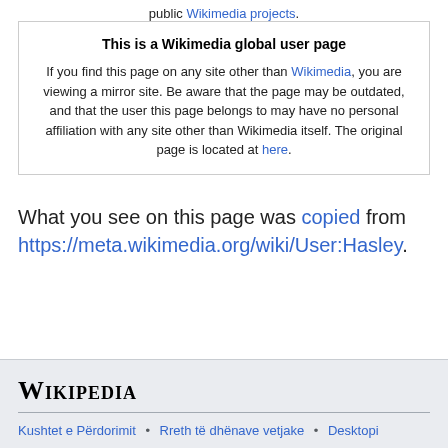public Wikimedia projects.
This is a Wikimedia global user page
If you find this page on any site other than Wikimedia, you are viewing a mirror site. Be aware that the page may be outdated, and that the user this page belongs to may have no personal affiliation with any site other than Wikimedia itself. The original page is located at here.
What you see on this page was copied from https://meta.wikimedia.org/wiki/User:Hasley.
Wikipedia  Kushtet e Përdorimit • Rreth të dhënave vetjake • Desktopi